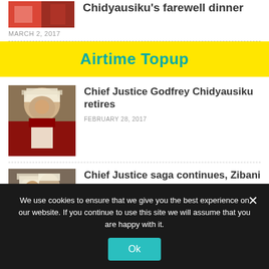[Figure (photo): Partial thumbnail of article about Chidyausiku's farewell dinner - red/colorful image]
Chidyausiku's farewell dinner
MARCH 2, 2017
[Figure (infographic): Yellow banner advertisement: Airtime Topup]
[Figure (photo): Chief Justice Godfrey Chidyausiku in judicial wig and robes, waving]
Chief Justice Godfrey Chidyausiku retires
FEBRUARY 28, 2017
[Figure (photo): Judges in court, one holding papers, wearing judicial wigs and red robes]
Chief Justice saga continues, Zibani back in court accusing Chief Justice of abusing office
We use cookies to ensure that we give you the best experience on our website. If you continue to use this site we will assume that you are happy with it.